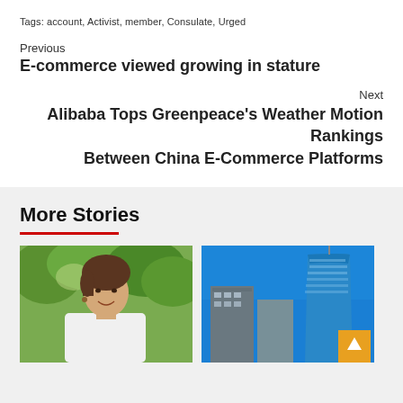Tags: account, Activist, member, Consulate, Urged
Previous
E-commerce viewed growing in stature
Next
Alibaba Tops Greenpeace's Weather Motion Rankings Between China E-Commerce Platforms
More Stories
[Figure (photo): Portrait photo of a woman with short hair wearing a white jacket, outdoors with green foliage background]
[Figure (photo): Photo of modern skyscrapers against a clear blue sky, with a tall curved glass building on the right]